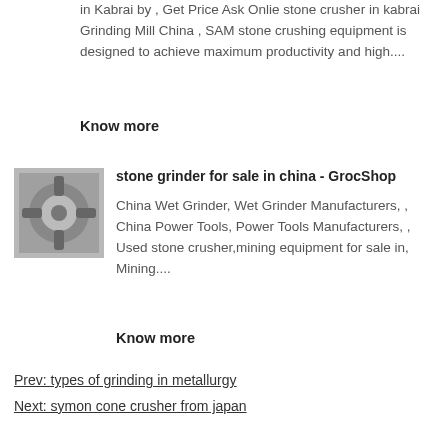in Kabrai by , Get Price Ask Onlie stone crusher in kabrai Grinding Mill China , SAM stone crushing equipment is designed to achieve maximum productivity and high....
Know more
[Figure (photo): Thumbnail image of a stone grinder machine]
stone grinder for sale in china - GrocShop
China Wet Grinder, Wet Grinder Manufacturers, , China Power Tools, Power Tools Manufacturers, , Used stone crusher,mining equipment for sale in, Mining....
Know more
Prev: types of grinding in metallurgy
Next: symon cone crusher from japan
Crushing Equipment:
PE Jaw Crusher
PEW Jaw Crusher
PE Impact Crusher